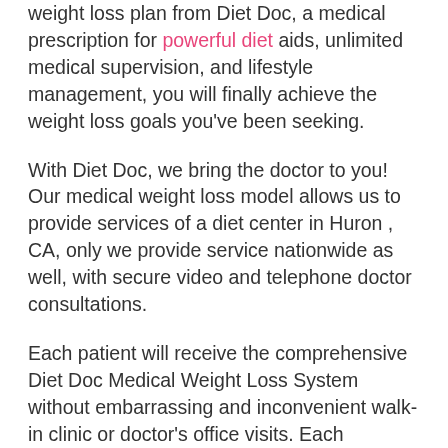weight loss plan from Diet Doc, a medical prescription for powerful diet aids, unlimited medical supervision, and lifestyle management, you will finally achieve the weight loss goals you've been seeking.
With Diet Doc, we bring the doctor to you! Our medical weight loss model allows us to provide services of a diet center in Huron , CA, only we provide service nationwide as well, with secure video and telephone doctor consultations.
Each patient will receive the comprehensive Diet Doc Medical Weight Loss System without embarrassing and inconvenient walk-in clinic or doctor's office visits. Each consultation is performed discretely from the privacy of your own home.
Call Diet Doc today and